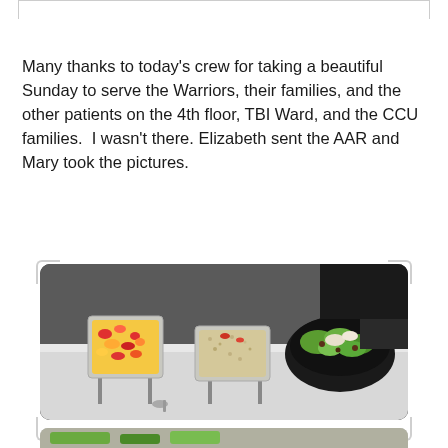Many thanks to today's crew for taking a beautiful Sunday to serve the Warriors, their families, and the other patients on the 4th floor, TBI Ward, and the CCU families.  I wasn't there. Elizabeth sent the AAR and Mary took the pictures.
[Figure (photo): Photo of three large aluminum chafing dishes on a table with a white tablecloth. The left dish contains a colorful fruit salad with strawberries and other fruits. The middle dish contains a rice or grain dish. The right dish is a dark bowl filled with a green salad with toppings. A spoon is visible on the table in front.]
[Figure (photo): Partial view of another photo at the bottom of the page, partially cut off, showing what appears to be more food items.]